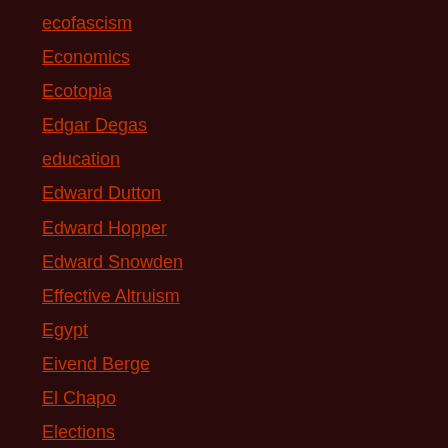ecofascism
Economics
Ecotopia
Edgar Degas
education
Edward Dutton
Edward Hopper
Edward Snowden
Effective Altruism
Egypt
Eivend Berge
El Chapo
Elections
Ellen Brown
Ellen Pao